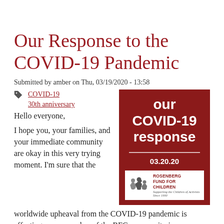Our Response to the COVID-19 Pandemic
Submitted by amber on Thu, 03/19/2020 - 13:58
COVID-19
30th anniversary
Hello everyone,
[Figure (illustration): Dark red square image with white bold text reading 'our COVID-19 response', a horizontal white line, date '03.20.20', and the Rosenberg Fund for Children logo at the bottom.]
I hope you, your families, and your immediate community are okay in this very trying moment. I'm sure that the worldwide upheaval from the COVID-19 pandemic is affecting every member of the RFC community in some